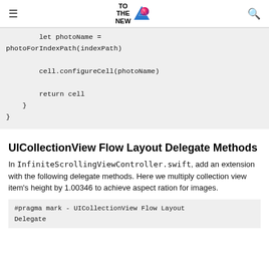TO THE NEW [logo]
let photoName =
photoForIndexPath(indexPath)

        cell.configureCell(photoName)

        return cell
    }
}
UICollectionView Flow Layout Delegate Methods
In InfiniteScrollingViewController.swift, add an extension with the following delegate methods. Here we multiply collection view item's height by 1.00346 to achieve aspect ration for images.
#pragma mark - UICollectionView Flow Layout Delegate